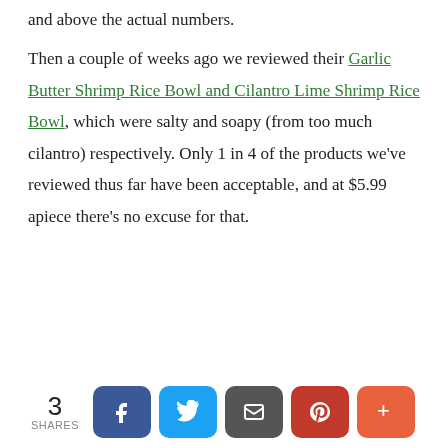and above the actual numbers.
Then a couple of weeks ago we reviewed their Garlic Butter Shrimp Rice Bowl and Cilantro Lime Shrimp Rice Bowl, which were salty and soapy (from too much cilantro) respectively. Only 1 in 4 of the products we've reviewed thus far have been acceptable, and at $5.99 apiece there's no excuse for that.
3 SHARES [Facebook] [Twitter] [Email] [Pinterest] [More]